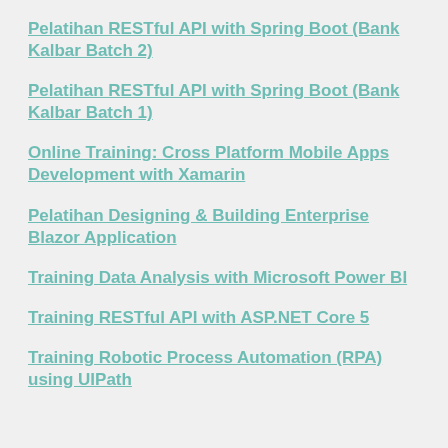Pelatihan RESTful API with Spring Boot (Bank Kalbar Batch 2)
Pelatihan RESTful API with Spring Boot (Bank Kalbar Batch 1)
Online Training: Cross Platform Mobile Apps Development with Xamarin
Pelatihan Designing & Building Enterprise Blazor Application
Training Data Analysis with Microsoft Power BI
Training RESTful API with ASP.NET Core 5
Training Robotic Process Automation (RPA) using UIPath